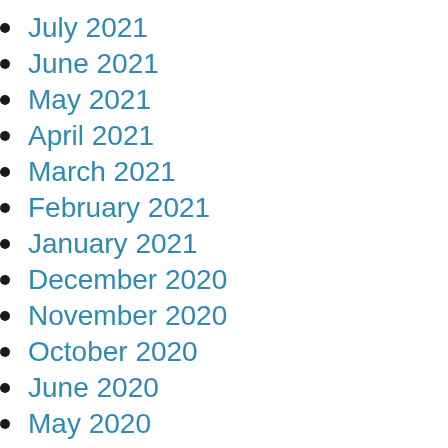July 2021
June 2021
May 2021
April 2021
March 2021
February 2021
January 2021
December 2020
November 2020
October 2020
June 2020
May 2020